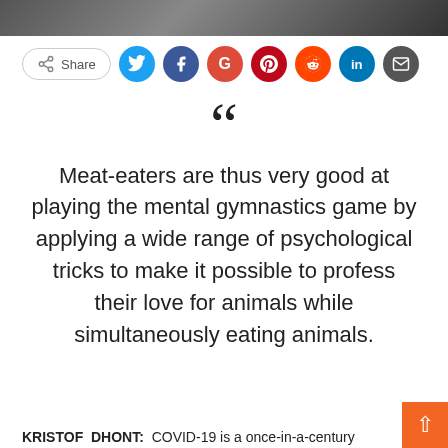[Figure (photo): Partial photo strip at top of page, dark blurred image]
[Figure (infographic): Social share bar with Share button and social media icons: Twitter (blue), Facebook (dark blue), Google (red), Pinterest (dark red), Reddit (orange), LinkedIn (blue), Email (dark gray)]
Meat-eaters are thus very good at playing the mental gymnastics game by applying a wide range of psychological tricks to make it possible to profess their love for animals while simultaneously eating animals.
KRISTOF DHONT: COVID-19 is a once-in-a-century